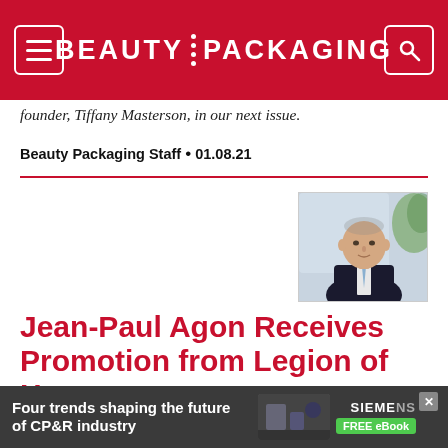BEAUTY PACKAGING
founder, Tiffany Masterson, in our next issue.
Beauty Packaging Staff • 01.08.21
[Figure (photo): Professional portrait of Jean-Paul Agon, a man in a dark suit with a blue tie, photographed in front of a blurred office background with a plant.]
Jean-Paul Agon Receives Promotion from Legion of Honor
Earns France's highest civilian decoration.
[Figure (infographic): Advertisement banner: 'Four trends shaping the future of CP&R industry' by Siemens with a FREE eBook button.]